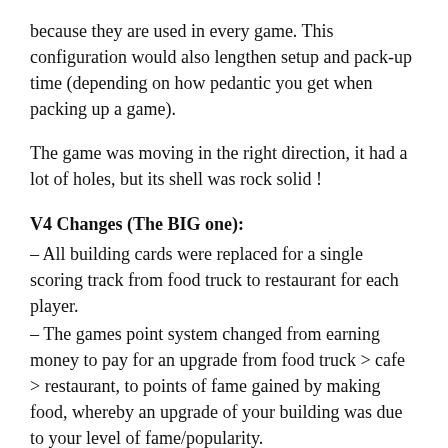because they are used in every game. This configuration would also lengthen setup and pack-up time (depending on how pedantic you get when packing up a game).
The game was moving in the right direction, it had a lot of holes, but its shell was rock solid !
V4 Changes (The BIG one):
– All building cards were replaced for a single scoring track from food truck to restaurant for each player.
– The games point system changed from earning money to pay for an upgrade from food truck > cafe > restaurant, to points of fame gained by making food, whereby an upgrade of your building was due to your level of fame/popularity.
– Actions per turn increased from 3 to 4.
– Players capped at 4.